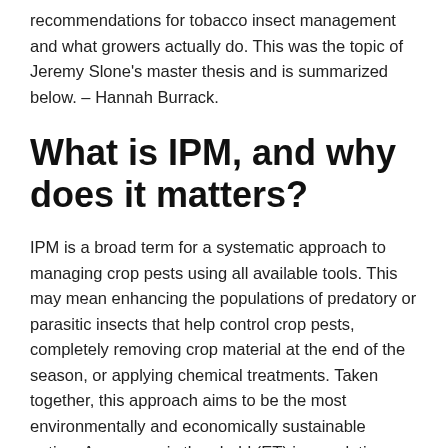recommendations for tobacco insect management and what growers actually do. This was the topic of Jeremy Slone's master thesis and is summarized below. – Hannah Burrack.
What is IPM, and why does it matters?
IPM is a broad term for a systematic approach to managing crop pests using all available tools. This may mean enhancing the populations of predatory or parasitic insects that help control crop pests, completely removing crop material at the end of the season, or applying chemical treatments. Taken together, this approach aims to be the most environmentally and economically sustainable option. An economic threshold (ET) is population density of a